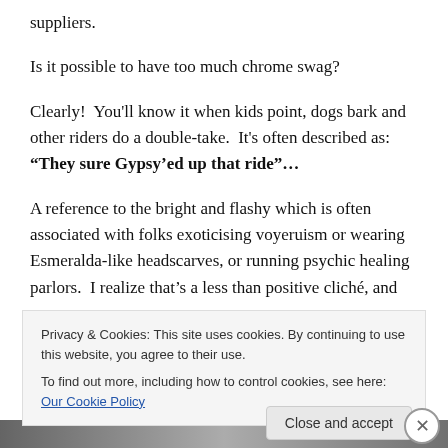suppliers.
Is it possible to have too much chrome swag?
Clearly!  You'll know it when kids point, dogs bark and other riders do a double-take.  It's often described as: “They sure Gypsy’ed up that ride”…
A reference to the bright and flashy which is often associated with folks exoticising voyeruism or wearing Esmeralda-like headscarves, or running psychic healing parlors.  I realize that’s a less than positive cliché, and
Privacy & Cookies: This site uses cookies. By continuing to use this website, you agree to their use.
To find out more, including how to control cookies, see here: Our Cookie Policy
Close and accept